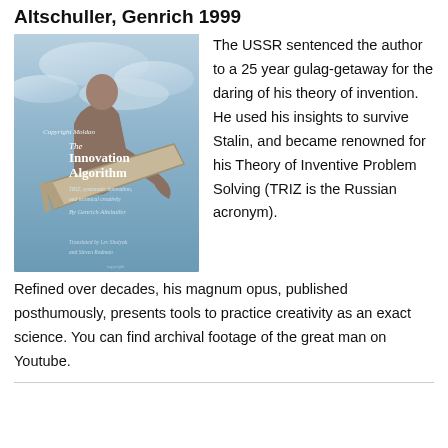Altschuller, Genrich 1999
[Figure (illustration): Book cover of 'The Innovation Algorithm: TRIZ, systematic innovation, and technical creativity' by Genrich Altshuller, translated by Lev Shulyak and Steven Rodman. Shows a man leaning over a drafting table against a cloudy sky background.]
The USSR sentenced the author to a 25 year gulag-getaway for the daring of his theory of invention. He used his insights to survive Stalin, and became renowned for his Theory of Inventive Problem Solving (TRIZ is the Russian acronym).
Refined over decades, his magnum opus, published posthumously, presents tools to practice creativity as an exact science. You can find archival footage of the great man on Youtube.